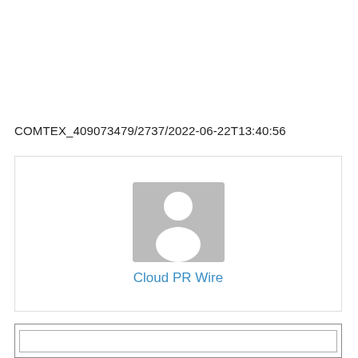COMTEX_409073479/2737/2022-06-22T13:40:56
[Figure (photo): Profile placeholder image with generic person silhouette in gray, followed by 'Cloud PR Wire' text in blue below it, inside a bordered card]
[Figure (other): Empty bordered box at the bottom of the page]